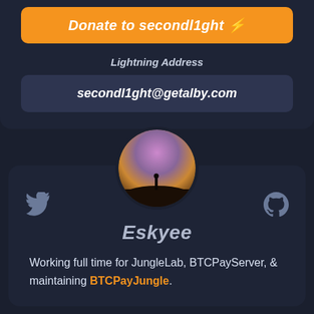Donate to secondl1ght ⚡
Lightning Address
secondl1ght@getalby.com
[Figure (photo): Circular profile photo showing a person silhouetted against a colorful galaxy/milky way night sky]
Eskyee
Working full time for JungleLab, BTCPayServer, & maintaining BTCPayJungle.